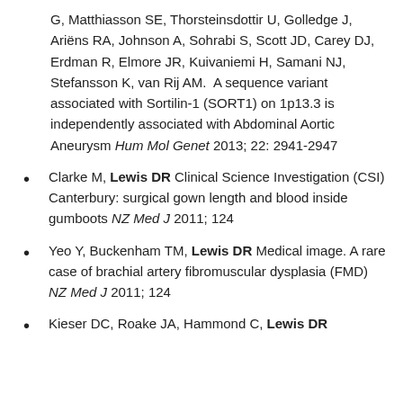G, Matthiasson SE, Thorsteinsdottir U, Golledge J, Ariëns RA, Johnson A, Sohrabi S, Scott JD, Carey DJ, Erdman R, Elmore JR, Kuivaniemi H, Samani NJ, Stefansson K, van Rij AM. A sequence variant associated with Sortilin-1 (SORT1) on 1p13.3 is independently associated with Abdominal Aortic Aneurysm Hum Mol Genet 2013; 22: 2941-2947
Clarke M, Lewis DR Clinical Science Investigation (CSI) Canterbury: surgical gown length and blood inside gumboots NZ Med J 2011; 124
Yeo Y, Buckenham TM, Lewis DR Medical image. A rare case of brachial artery fibromuscular dysplasia (FMD) NZ Med J 2011; 124
Kieser DC, Roake JA, Hammond C, Lewis DR